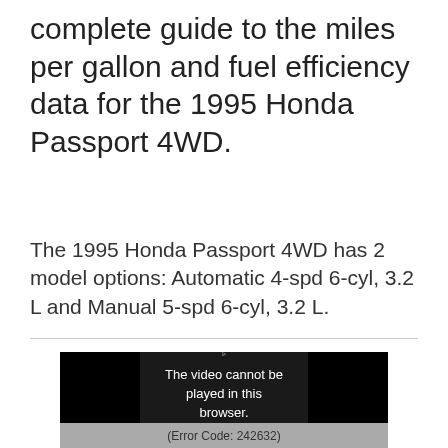complete guide to the miles per gallon and fuel efficiency data for the 1995 Honda Passport 4WD.
The 1995 Honda Passport 4WD has 2 model options: Automatic 4-spd 6-cyl, 3.2 L and Manual 5-spd 6-cyl, 3.2 L.
[Figure (screenshot): Video player showing error message: 'The video cannot be played in this browser.' with Error Code: 242632]